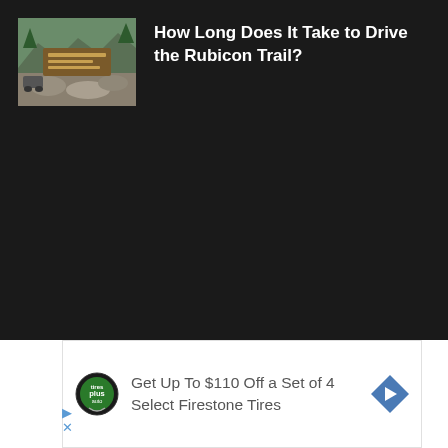[Figure (photo): Thumbnail photo of Rubicon Trail sign with rocky terrain and trees in the background]
How Long Does It Take to Drive the Rubicon Trail?
[Figure (logo): Tires Plus Auto circular logo in black and green]
Get Up To $110 Off a Set of 4 Select Firestone Tires